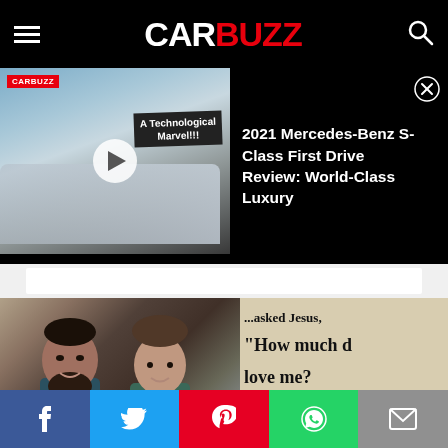CARBUZZ
[Figure (screenshot): CarBuzz video thumbnail showing a 2021 Mercedes-Benz S-Class with overlay text 'A Technological Marvel!!!' and a play button]
2021 Mercedes-Benz S-Class First Drive Review: World-Class Luxury
[Figure (photo): Photo of two people (man with beard and woman) standing in front of a wall with text reading '...asked Jesus, How much d love me? He stretch...']
Social share bar: Facebook, Twitter, Pinterest, WhatsApp, Email